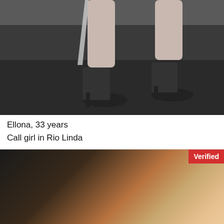[Figure (photo): Photo showing legs wearing black high heels on a dark floor]
Ellona, 33 years
Call girl in Rio Linda
[Figure (photo): Photo of a blonde woman, with a red Verified badge in the top right corner]